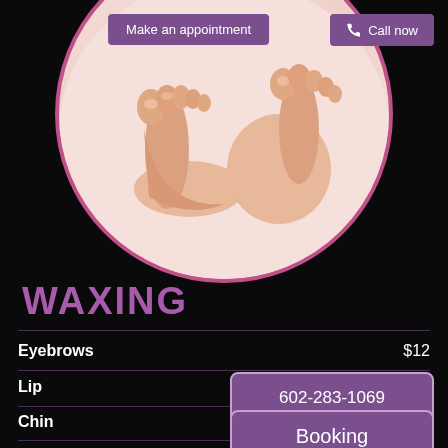[Figure (photo): Circular framed photo of feet/toes on white background with pink/magenta border]
Make an appointment
Call now
WAXING
Eyebrows  $12
Lip
602-283-1069
Chin
Booking
Lip - Chin - Eyebrows  $22